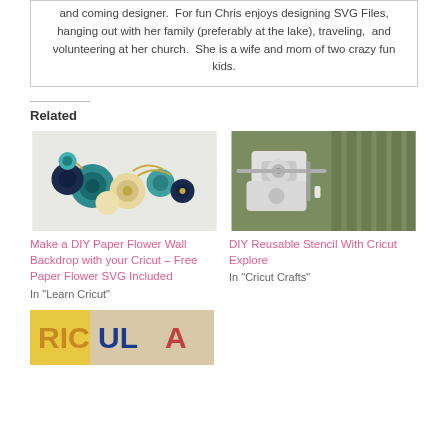and coming designer.  For fun Chris enjoys designing SVG Files, hanging out with her family (preferably at the lake), traveling,  and volunteering at her church.  She is a wife and mom of two crazy fun kids.
Related
[Figure (photo): Paper flower wall backdrop with teal, navy, and cream paper flowers on a light background]
Make a DIY Paper Flower Wall Backdrop with your Cricut – Free Paper Flower SVG Included
In "Learn Cricut"
[Figure (photo): DIY reusable stencil with Cricut Explore - white plastic parts on a green cutting mat]
DIY Reusable Stencil With Cricut Explore
In "Cricut Crafts"
[Figure (photo): Cricut project with colorful text showing letters on a background]